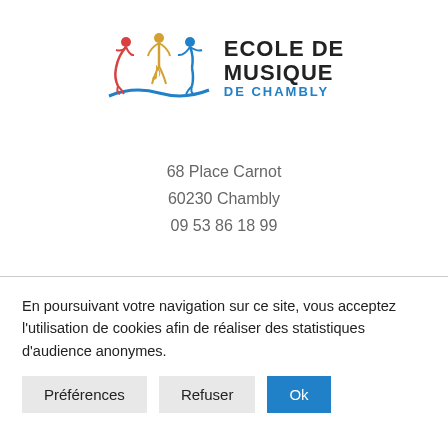[Figure (logo): Ecole de Musique de Chambly logo with three stylized dancing figures in red, yellow, and blue, a treble clef, and the school name text]
68 Place Carnot
60230 Chambly
09 53 86 18 99
En poursuivant votre navigation sur ce site, vous acceptez l'utilisation de cookies afin de réaliser des statistiques d'audience anonymes.